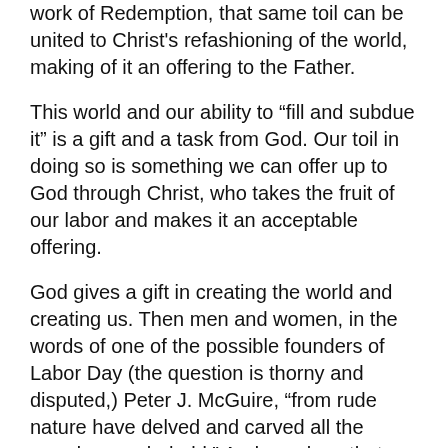work of Redemption, that same toil can be united to Christ's refashioning of the world, making of it an offering to the Father.
This world and our ability to “fill and subdue it” is a gift and a task from God. Our toil in doing so is something we can offer up to God through Christ, who takes the fruit of our labor and makes it an acceptable offering.
God gives a gift in creating the world and creating us. Then men and women, in the words of one of the possible founders of Labor Day (the question is thorny and disputed,) Peter J. McGuire, “from rude nature have delved and carved all the grandeur we behold.” And we place that before God in the offertory, that He may make it the Bread of Life, and our Spiritual Drink.
So this Labor Day weekend, let’s pay special attention to one of the oldest prayers in the Mass, one that comes from a Jewish prayer of blessing at meals that thousands of our older brothers in Faith say to this day: